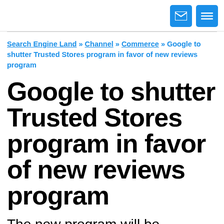[email icon] [menu icon]
Search Engine Land » Channel » Commerce » Google to shutter Trusted Stores program in favor of new reviews program
Google to shutter Trusted Stores program in favor of new reviews program
The new program will be integrated with